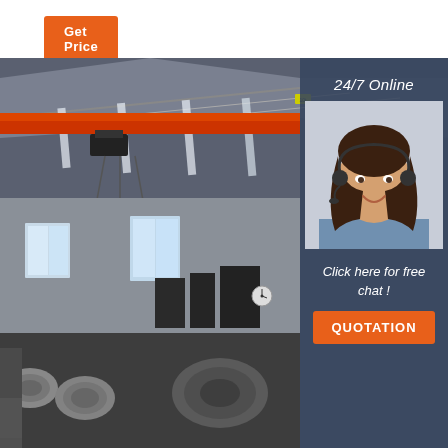[Figure (other): Orange button labeled 'Get Price' in top left corner]
[Figure (photo): Industrial factory interior with overhead red crane, steel roof structure, large coils of steel on the floor, and heavy machinery. An overlay panel on the right side shows '24/7 Online', a photo of a female customer service agent with headset, 'Click here for free chat!', and an orange QUOTATION button.]